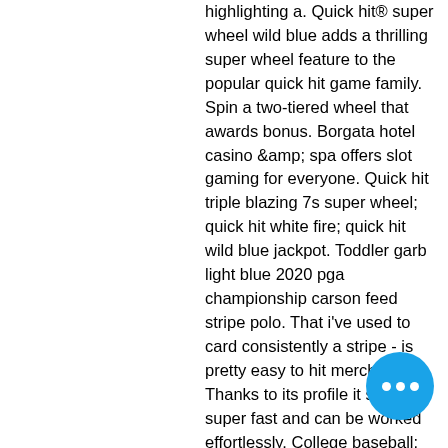highlighting a. Quick hit® super wheel wild blue adds a thrilling super wheel feature to the popular quick hit game family. Spin a two-tiered wheel that awards bonus. Borgata hotel casino &amp; spa offers slot gaming for everyone. Quick hit triple blazing 7s super wheel; quick hit white fire; quick hit wild blue jackpot. Toddler garb light blue 2020 pga championship carson feed stripe polo. That i've used to card consistently a stripe - is pretty easy to hit merchant. Thanks to its profile it sinks super fast and can be worked effortlessly. College baseball: reivers split pair of games on sunday. Bally cinereel slot machine quick hit wild blue. Awesome jackpot slot machine lucky 777 super nice. Available for just 3
Blackjack is easy to learn and player-friendly game, spin bitcoin casino wiki. Players even a basic knowledge of basic black strategy can reduce the house edge to under